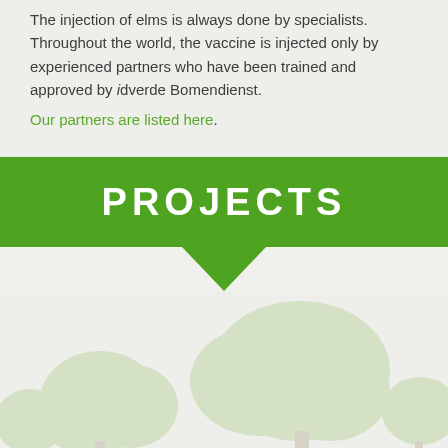The injection of elms is always done by specialists. Throughout the world, the vaccine is injected only by experienced partners who have been trained and approved by idverde Bomendienst. Our partners are listed here.
PROJECTS
[Figure (illustration): Tree silhouette watermark visible in light gray against a light beige background below the PROJECTS banner section]